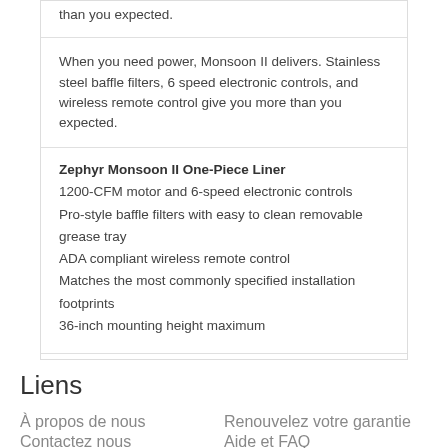than you expected.
When you need power, Monsoon II delivers. Stainless steel baffle filters, 6 speed electronic controls, and wireless remote control give you more than you expected.
Zephyr Monsoon II One-Piece Liner
1200-CFM motor and 6-speed electronic controls
Pro-style baffle filters with easy to clean removable grease tray
ADA compliant wireless remote control
Matches the most commonly specified installation footprints
36-inch mounting height maximum
UPC: 646328003639
Liens
À propos de nous
Renouvelez votre garantie
Contactez nous
Aide et FAQ